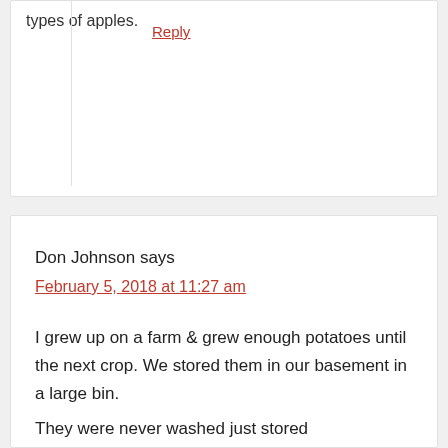types of apples.
Reply
Don Johnson says
February 5, 2018 at 11:27 am
I grew up on a farm & grew enough potatoes until the next crop. We stored them in our basement in a large bin.
They were never washed just stored